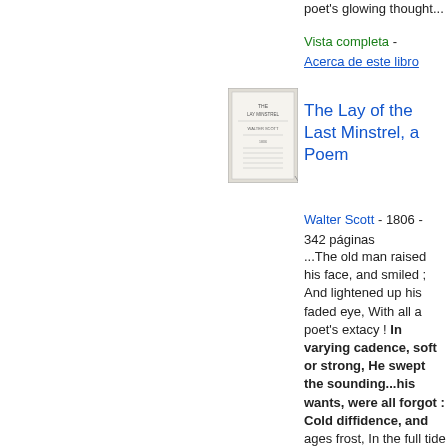poet's glowing thought...
Vista completa - Acerca de este libro
[Figure (photo): Thumbnail of book cover for The Lay of the Last Minstrel, a Poem]
The Lay of the Last Minstrel, a Poem
Walter Scott - 1806 - 342 páginas
...The old man raised his face, and smiled ; And lightened up his faded eye, With all a poet's extacy ! In varying cadence, soft or strong, He swept the sounding...his wants, were all forgot : Cold diffidence, and ages frost, In the full tide of song were lost ; Each blank, in faithless